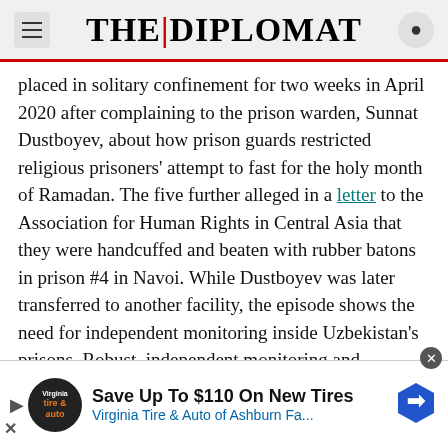THE | DIPLOMAT
placed in solitary confinement for two weeks in April 2020 after complaining to the prison warden, Sunnat Dustboyev, about how prison guards restricted religious prisoners' attempt to fast for the holy month of Ramadan. The five further alleged in a letter to the Association for Human Rights in Central Asia that they were handcuffed and beaten with rubber batons in prison #4 in Navoi. While Dustboyev was later transferred to another facility, the episode shows the need for independent monitoring inside Uzbekistan's prisons. Robust, independent monitoring and investigations of torture could certainly be spearheaded by Euro...
[Figure (other): Advertisement banner: Save Up To $110 On New Tires - Virginia Tire & Auto of Ashburn Fa...]